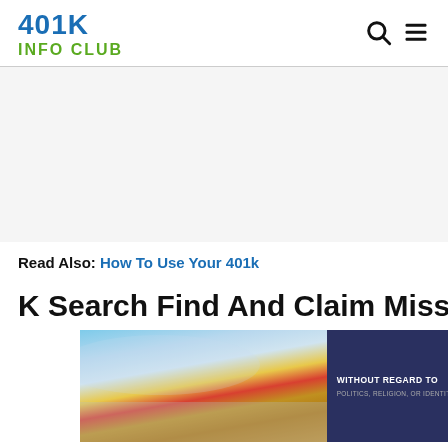401K INFO CLUB
Read Also: How To Use Your 401k
K Search Find And Claim Missing
[Figure (photo): Advertisement banner showing an airplane with colorful livery being loaded with cargo, with text reading WITHOUT REGARD TO POLITICS, RELIGION, OR IDENTITY on a dark background]